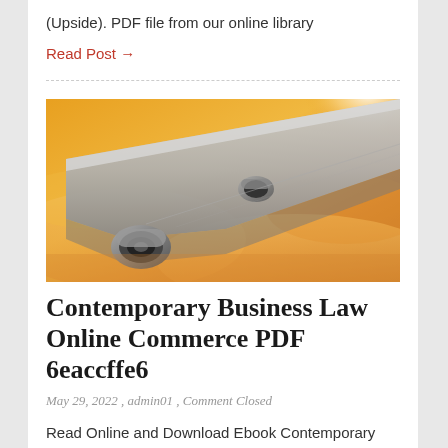(Upside). PDF file from our online library
Read Post →
[Figure (photo): Close-up photo of an airplane wing and engine against a warm orange sky, taken from below/side angle]
Contemporary Business Law Online Commerce PDF 6eaccffe6
May 29, 2022 , admin01 , Comment Closed
Read Online and Download Ebook Contemporary Business Law and Online Commerce Law (5th Edition). PDF file from